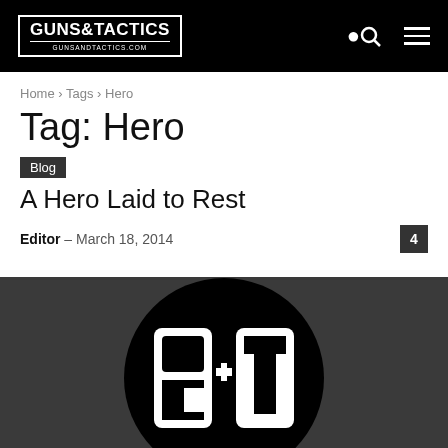GUNS&TACTICS GUNSANDTACTICS.COM
Home › Tags › Hero
Tag: Hero
Blog
A Hero Laid to Rest
Editor – March 18, 2014
[Figure (logo): Guns & Tactics G+T circular logo on dark background]